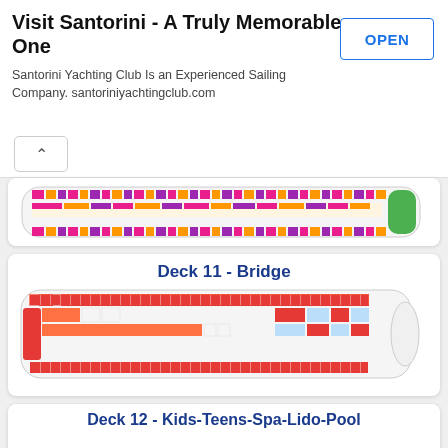[Figure (screenshot): Advertisement banner for Santorini Yachting Club with title 'Visit Santorini - A Truly Memorable One', subtitle 'Santorini Yachting Club Is an Experienced Sailing Company. santoriniyachtingclub.com', and an OPEN button]
[Figure (engineering-diagram): Partial ship deck plan (top of previous deck) showing colored cabin layout with pink, orange, purple, yellow sections and green section at right]
Deck 11 - Bridge
[Figure (engineering-diagram): Ship deck plan for Deck 11 - Bridge showing cabin layout with red, orange, blue/light purple sections]
Deck 12 - Kids-Teens-Spa-Lido-Pool
[Figure (engineering-diagram): Ship deck plan for Deck 12 - Kids-Teens-Spa-Lido-Pool showing open deck areas with pool, spa and kids areas in teal/blue colors]